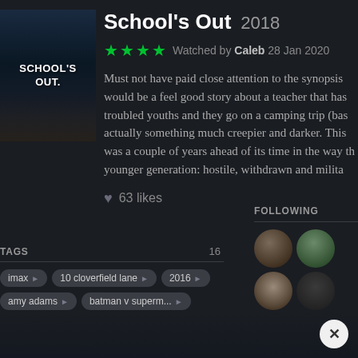[Figure (photo): Movie poster for School's Out, dark blue tones showing group of youths]
School's Out 2018
★★★★ Watched by Caleb 28 Jan 2020
Must not have paid close attention to the synopsis would be a feel good story about a teacher that has troubled youths and they go on a camping trip (bas actually something much creepier and darker. This was a couple of years ahead of its time in the way th younger generation: hostile, withdrawn and milita
♥ 63 likes
TAGS  16
imax  10 cloverfield lane  2016
amy adams  batman v superm...
FOLLOWING